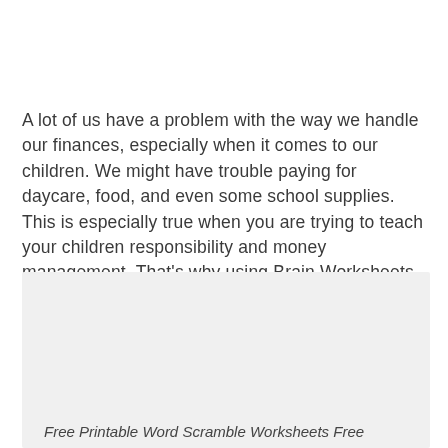A lot of us have a problem with the way we handle our finances, especially when it comes to our children. We might have trouble paying for daycare, food, and even some school supplies. This is especially true when you are trying to teach your children responsibility and money management. That's why using Brain Worksheets can help you do this.
[Figure (other): Light gray placeholder image box]
Free Printable Word Scramble Worksheets Free